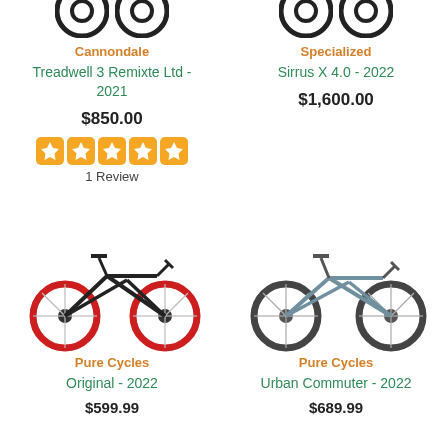[Figure (illustration): Partial wheel tops of two bicycles, top-left product]
Cannondale
Treadwell 3 Remixte Ltd - 2021
$850.00
[Figure (illustration): 5-star orange rating with 5 filled stars]
1 Review
[Figure (illustration): Partial wheel tops of two bicycles, top-right product]
Specialized
Sirrus X 4.0 - 2022
$1,600.00
[Figure (photo): Pure Cycles Original 2022 bicycle with black frame and red wheels]
Pure Cycles
Original - 2022
$599.99
[Figure (photo): Pure Cycles Urban Commuter 2022 bicycle with gray/blue frame]
Pure Cycles
Urban Commuter - 2022
$689.99